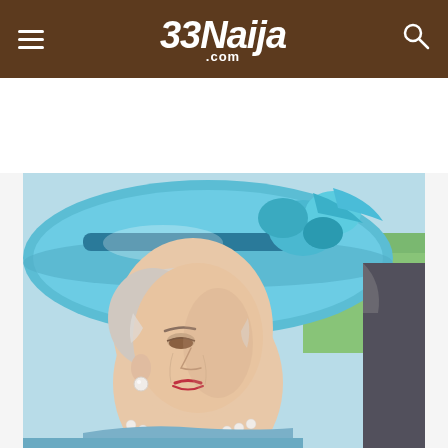33Naija.com
[Figure (photo): Close-up photograph of an elderly woman wearing a light blue hat with floral decoration and a light blue outfit, also wearing pearl earrings and a pearl necklace. She appears to be looking downward with a serious expression. A dark-suited figure is partially visible to the right, and a green background is visible in the upper right corner.]